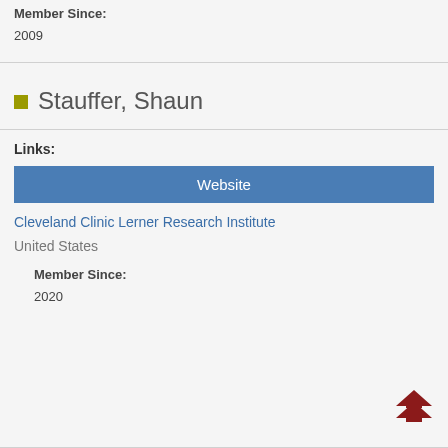Member Since:
2009
Stauffer, Shaun
Links:
Website
Cleveland Clinic Lerner Research Institute
United States
Member Since:
2020